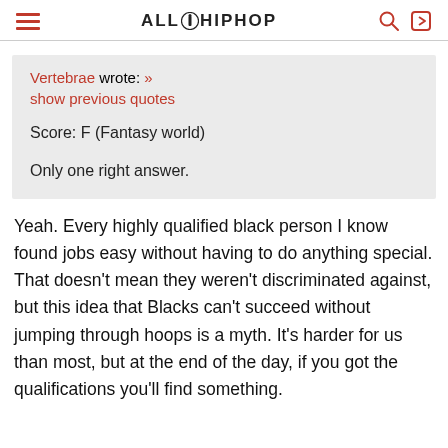ALL HIPHOP
Vertebrae wrote: »
show previous quotes

Score: F (Fantasy world)

Only one right answer.
Yeah. Every highly qualified black person I know found jobs easy without having to do anything special. That doesn't mean they weren't discriminated against, but this idea that Blacks can't succeed without jumping through hoops is a myth. It's harder for us than most, but at the end of the day, if you got the qualifications you'll find something.